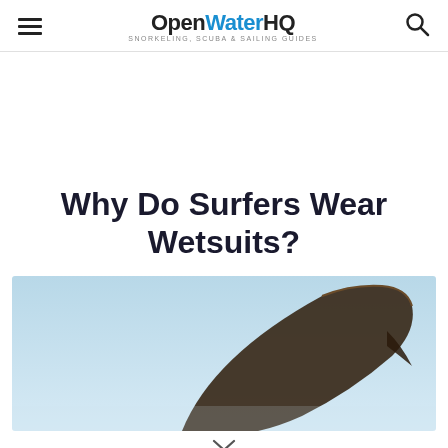OpenWaterHQ — SNORKELING, SCUBA & SAILING GUIDES
Why Do Surfers Wear Wetsuits?
[Figure (photo): A surfboard tip held up against a clear blue sky, photographed from below showing the dark edge and fin of the board.]